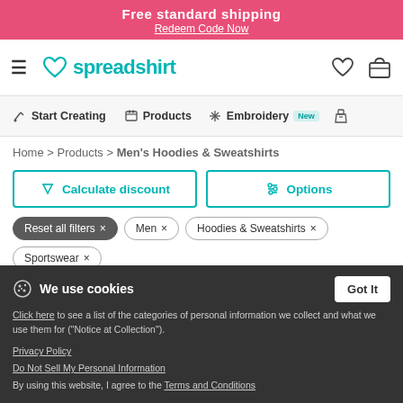Free standard shipping
Redeem Code Now
[Figure (logo): Spreadshirt logo with teal heart and text]
Start Creating | Products | Embroidery New
Home > Products > Men's Hoodies & Sweatshirts
Calculate discount
Options
Reset all filters ×
Men ×
Hoodies & Sweatshirts ×
Sportswear ×
We use cookies
Click here to see a list of the categories of personal information we collect and what we use them for ("Notice at Collection").
Privacy Policy
Do Not Sell My Personal Information
By using this website, I agree to the Terms and Conditions
Got It